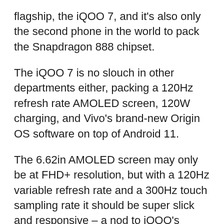flagship, the iQOO 7, and it's also only the second phone in the world to pack the Snapdragon 888 chipset.
The iQOO 7 is no slouch in other departments either, packing a 120Hz refresh rate AMOLED screen, 120W charging, and Vivo's brand-new Origin OS software on top of Android 11.
The 6.62in AMOLED screen may only be at FHD+ resolution, but with a 120Hz variable refresh rate and a 300Hz touch sampling rate it should be super slick and responsive – a nod to iQOO's gaming phone pedigree – and with HDR10+ we're expecting strong visuals too.
The 4000mAh battery is split into two cells to allow 120W charging speeds, delivering a full charge in a